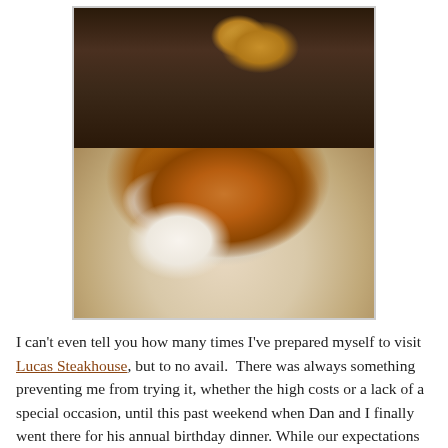[Figure (photo): A close-up photo of a golden-brown baked soufflé or pot pie in a white ramekin on a white plate, with a spoon lifting a portion from the top showing the filling underneath.]
I can't even tell you how many times I've prepared myself to visit Lucas Steakhouse, but to no avail.  There was always something preventing me from trying it, whether the high costs or a lack of a special occasion, until this past weekend when Dan and I finally went there for his annual birthday dinner. While our expectations